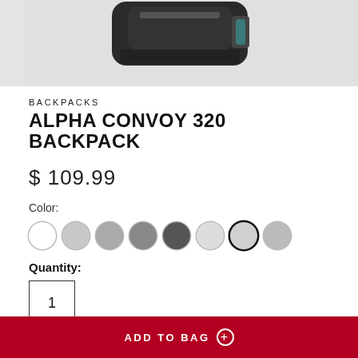[Figure (photo): Top portion of a backpack product photo shown against a light gray background]
BACKPACKS
ALPHA CONVOY 320 BACKPACK
$ 109.99
Color:
[Figure (other): Row of 8 color swatches (circles), with the 7th selected (outlined in dark)]
Quantity:
1
The ultimate everyday companion, this mid-sized pack is equipped
ADD TO BAG